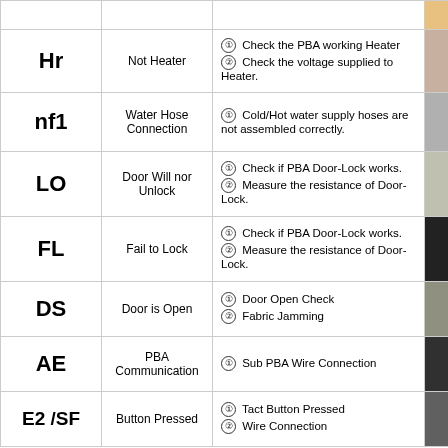| Code | Description | Action | Image |
| --- | --- | --- | --- |
| Hr | Not Heater | ① Check the PBA working Heater ② Check the voltage supplied to Heater. |  |
| nf1 | Water Hose Connection | ① Cold/Hot water supply hoses are not assembled correctly. |  |
| LO | Door Will nor Unlock | ① Check if PBA Door-Lock works. ② Measure the resistance of Door-Lock. |  |
| FL | Fail to Lock | ① Check if PBA Door-Lock works. ② Measure the resistance of Door-Lock. |  |
| DS | Door is Open | ① Door Open Check ② Fabric Jamming |  |
| AE | PBA Communication | ① Sub PBA Wire Connection |  |
| E2 /SF | Button Pressed | ① Tact Button Pressed ② Wire Connection |  |